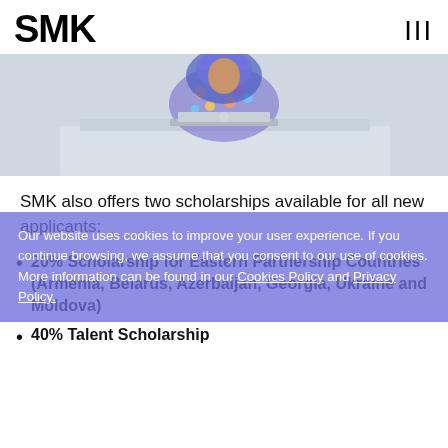SMK
[Figure (photo): Person wearing a floral hijab sitting at a table working on a laptop, viewed from above/front, light gray background]
SMK also offers two scholarships available for all new applicants:
20% Scholarship for Eastern Partnership Countries (Armenia, Belarus, Azerbaijan, Georgia, Ukraine and Moldova)
40% Talent Scholarship
Our website uses cookies to improve your user experience. If you continue browsing, we assume that you consent to our use of cookies. More information can be found in our Cookies Policy and Privacy Policy.
For more information about scholarship criteria and requirements email us at